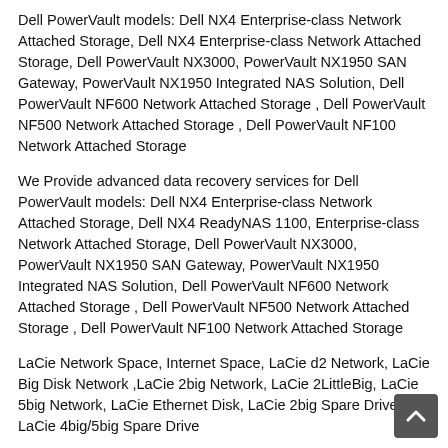Dell PowerVault models: Dell NX4 Enterprise-class Network Attached Storage, Dell NX4 Enterprise-class Network Attached Storage, Dell PowerVault NX3000, PowerVault NX1950 SAN Gateway, PowerVault NX1950 Integrated NAS Solution, Dell PowerVault NF600 Network Attached Storage , Dell PowerVault NF500 Network Attached Storage , Dell PowerVault NF100 Network Attached Storage
We Provide advanced data recovery services for Dell PowerVault models: Dell NX4 Enterprise-class Network Attached Storage, Dell NX4 ReadyNAS 1100, Enterprise-class Network Attached Storage, Dell PowerVault NX3000, PowerVault NX1950 SAN Gateway, PowerVault NX1950 Integrated NAS Solution, Dell PowerVault NF600 Network Attached Storage , Dell PowerVault NF500 Network Attached Storage , Dell PowerVault NF100 Network Attached Storage
LaCie Network Space, Internet Space, LaCie d2 Network, LaCie Big Disk Network ,LaCie 2big Network, LaCie 2LittleBig, LaCie 5big Network, LaCie Ethernet Disk, LaCie 2big Spare Drive, LaCie 4big/5big Spare Drive
Buffalo Technology models: TeraStation™ Duo, TeraStation™ III, TeraStation Pro™ II, TeraStation Pro™ II Rackmount, TeraStation Pro™ II iSCSI, TeraStation Pro™ II iSCSI Rackmount Storage System, LinkStation Mini™, LinkStation Live™ LS-CHL, LinkStation Pro™ LS-XHL, LinkStation Pro Duo™, LinkStation™ Quad